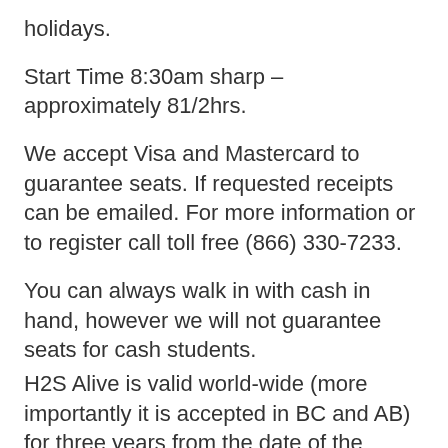holidays.
Start Time 8:30am sharp – approximately 81/2hrs.
We accept Visa and Mastercard to guarantee seats. If requested receipts can be emailed. For more information or to register call toll free (866) 330-7233.
You can always walk in with cash in hand, however we will not guarantee seats for cash students.
H2S Alive is valid world-wide (more importantly it is accepted in BC and AB) for three years from the date of the program. A temporary ticket is issued upon successful completion. Permanent ticket is mailed within 3 months to address provided by client on the contract.